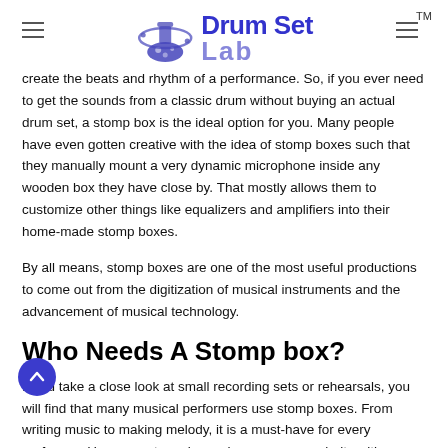Drum Set Lab
create the beats and rhythm of a performance. So, if you ever need to get the sounds from a classic drum without buying an actual drum set, a stomp box is the ideal option for you. Many people have even gotten creative with the idea of stomp boxes such that they manually mount a very dynamic microphone inside any wooden box they have close by. That mostly allows them to customize other things like equalizers and amplifiers into their home-made stomp boxes.
By all means, stomp boxes are one of the most useful productions to come out from the digitization of musical instruments and the advancement of musical technology.
Who Needs A Stomp box?
If you take a close look at small recording sets or rehearsals, you will find that many musical performers use stomp boxes. From writing music to making melody, it is a must-have for every performer. However, stomp boxes have more popularity with performers who need a fuller bass drum sound in their music or solo artists responsible for their entire act. It is a great addition to sound as it can take a song from being barely there to having full sounds. Improve your skills and technique in playing piano at a faster pace with the Best